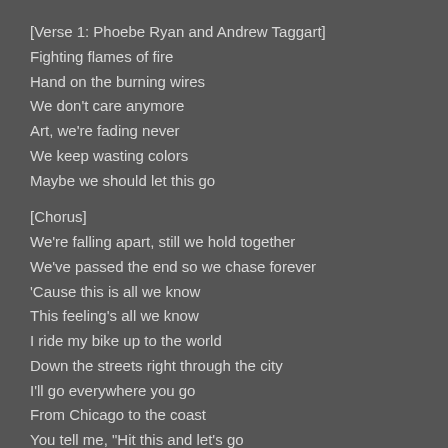[Verse 1: Phoebe Ryan and Andrew Taggart]
Fighting flames of fire
Hand on the burning wires
We don't care anymore
Art, we're fading never
We keep wasting colors
Maybe we should let this go
[Chorus]
We're falling apart, still we hold together
We've passed the end so we chase forever
'Cause this is all we know
This feeling's all we know
I ride my bike up to the world
Down the streets right through the city
I'll go everywhere you go
From Chicago to the coast
You tell me, "Hit this and let's go
Blow the smoke right through the window"